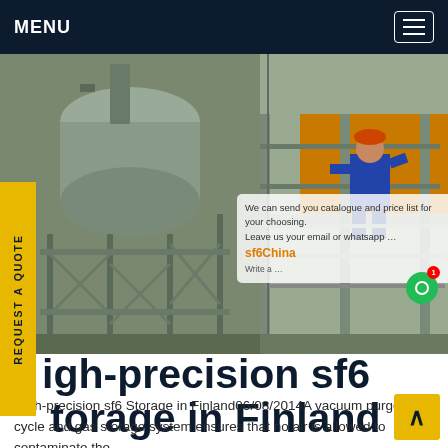MENU
[Figure (photo): Industrial SF6 gas storage equipment on metal scaffolding with a worker in blue overalls working on the right side. Heavy industrial machinery and pipes visible.]
We can send you catalogue and price list for your choosing. Leave us your email or whatsapp ... Write a ...
High-precision sf6 Storage in Finland
High-precision sf6 Storage in Finland06/08/2014A vacuum purge cycle and gas storage system ensures that no air is allowed to contaminate the